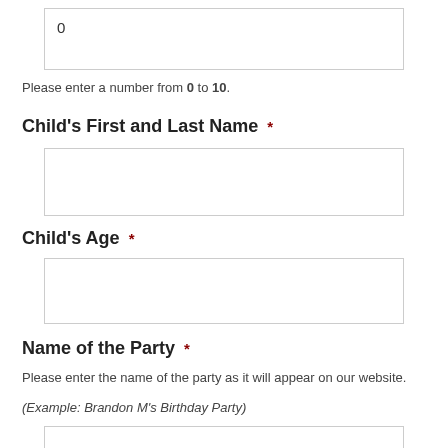0
Please enter a number from 0 to 10.
Child's First and Last Name *
Child's Age *
Name of the Party *
Please enter the name of the party as it will appear on our website.
(Example: Brandon M's Birthday Party)